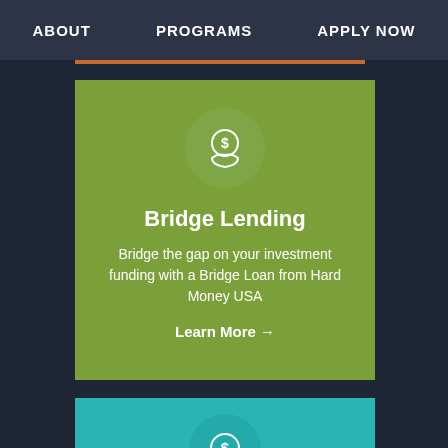ABOUT   PROGRAMS   APPLY NOW
[Figure (illustration): Green card with hand-holding-money icon, title 'Bridge Lending', descriptive text, and 'Learn More →' link]
Bridge Lending
Bridge the gap on your investment funding with a Bridge Loan from Hard Money USA
Learn More →
[Figure (illustration): Partial teal card with dollar speech bubble icon at bottom of page]